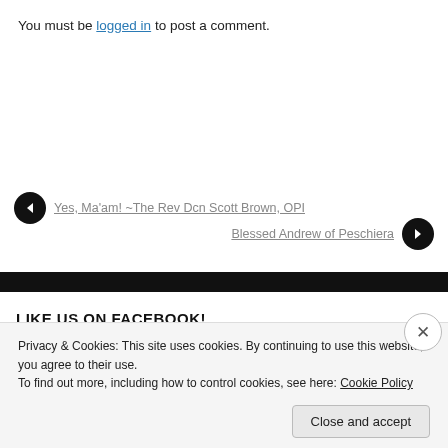You must be logged in to post a comment.
◀ Yes, Ma'am! ~The Rev Dcn Scott Brown, OPI
Blessed Andrew of Peschiera ▶
LIKE US ON FACEBOOK!
[Figure (other): Follow The Order of Preachers, Independent WordPress follow button with count 175]
BLOGROLL
Privacy & Cookies: This site uses cookies. By continuing to use this website, you agree to their use.
To find out more, including how to control cookies, see here: Cookie Policy
Close and accept